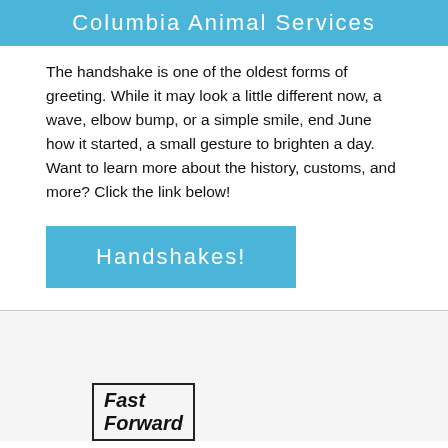Columbia Animal Services
The handshake is one of the oldest forms of greeting. While it may look a little different now, a wave, elbow bump, or a simple smile, end June how it started, a small gesture to brighten a day. Want to learn more about the history, customs, and more? Click the link below!
[Figure (other): Blue button labeled 'Handshakes!']
[Figure (other): Box with bold italic text 'Fast Forward']